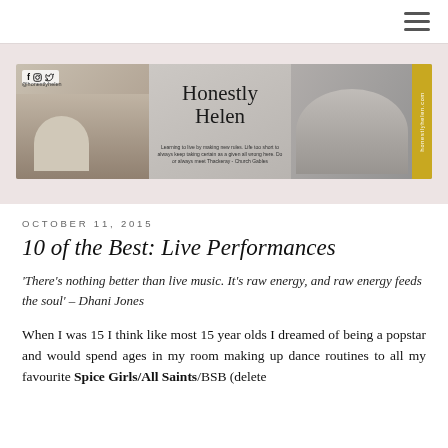[Figure (screenshot): Blog header banner for 'Honestly Helen' blog with three photo panels and social media icons (Facebook, Instagram, Twitter) and @honestlyhelen handle. Center panel shows cursive 'Honestly Helen' logo text. Right panel has gold sidebar with 'honestlyhelen.com'.]
OCTOBER 11, 2015
10 of the Best: Live Performances
'There's nothing better than live music. It's raw energy, and raw energy feeds the soul' – Dhani Jones
When I was 15 I think like most 15 year olds I dreamed of being a popstar and would spend ages in my room making up dance routines to all my favourite Spice Girls/All Saints/BSB (delete as appropriate). I also used to organise and